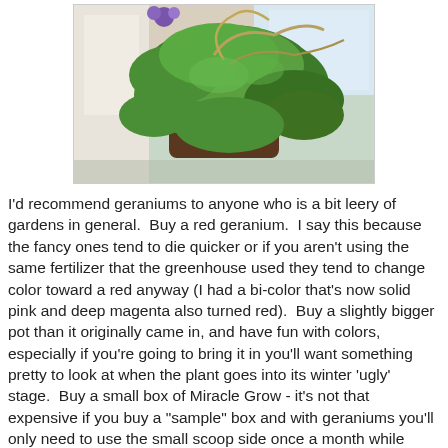[Figure (photo): A photograph of geranium plants growing in a dark brown pot, with lush green foliage and some curving stems, placed near a white door or wall, with a window visible in the background.]
I'd recommend geraniums to anyone who is a bit leery of gardens in general.  Buy a red geranium.  I say this because the fancy ones tend to die quicker or if you aren't using the same fertilizer that the greenhouse used they tend to change color toward a red anyway (I had a bi-color that's now solid pink and deep magenta also turned red).  Buy a slightly bigger pot than it originally came in, and have fun with colors, especially if you're going to bring it in you'll want something pretty to look at when the plant goes into its winter 'ugly' stage.  Buy a small box of Miracle Grow - it's not that expensive if you buy a "sample" box and with geraniums you'll only need to use the small scoop side once a month while you're watering it.